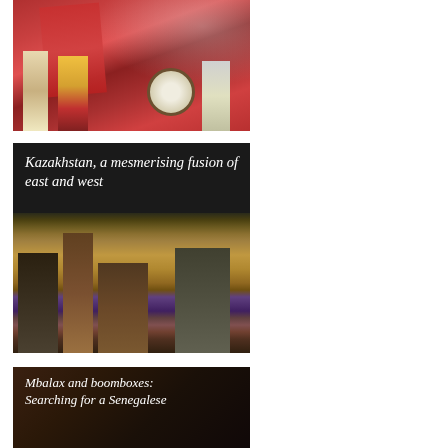[Figure (photo): Cultural festival photo showing performers in colorful traditional costumes — red robes, ornate garments — carrying flags and a large drum.]
[Figure (photo): Cityscape of Kazakhstan (Astana/Nur-Sultan) with modern skyscrapers and a wide boulevard, shot from above at dusk. Dark overlay with italic white text reading 'Kazakhstan, a mesmerising fusion of east and west'.]
[Figure (photo): Dark-background card with italic white text reading 'Mbalax and boomboxes: Searching for a Senegalese' — partially visible, bottom of page. Background shows a dimly visible scene.]